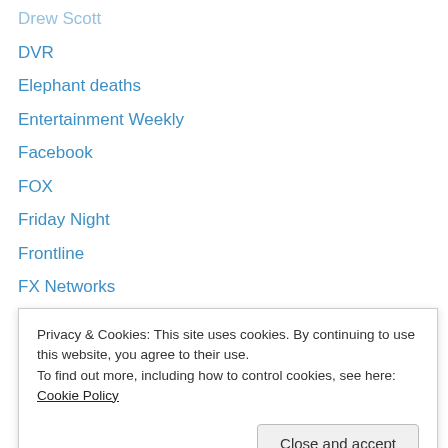Drew Scott
DVR
Elephant deaths
Entertainment Weekly
Facebook
FOX
Friday Night
Frontline
FX Networks
FXM
FXX
Gothamist
Gun control
H2
Privacy & Cookies: This site uses cookies. By continuing to use this website, you agree to their use.
To find out more, including how to control cookies, see here: Cookie Policy
Hollywood Reporter